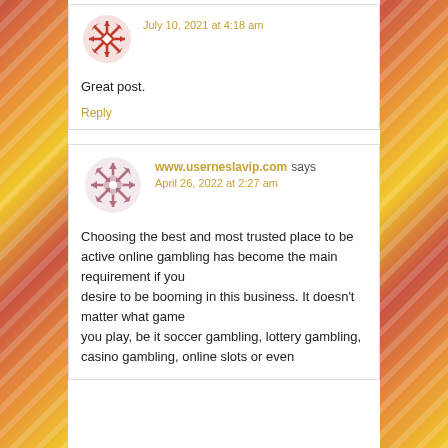[Figure (illustration): Red geometric snowflake/quilt pattern avatar icon for first commenter]
July 10, 2021 at 4:18 am
Great post.
Reply
[Figure (illustration): Rose/mauve geometric snowflake/quilt pattern avatar icon for second commenter]
www.userneslavip.com says
April 26, 2022 at 2:27 am
Choosing the best and most trusted place to be active online gambling has become the main requirement if you desire to be booming in this business. It doesn't matter what game you play, be it soccer gambling, lottery gambling, casino gambling, online slots or even